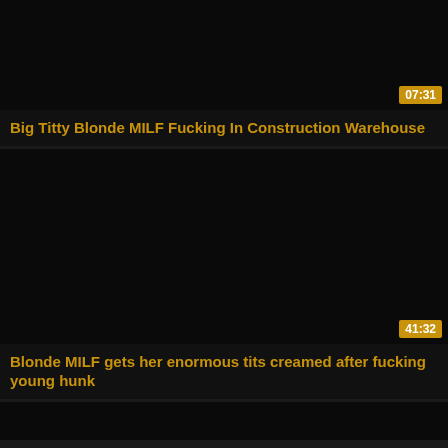[Figure (screenshot): Dark thumbnail for video card 1 with duration badge 07:31]
Big Titty Blonde MILF Fucking In Construction Warehouse
[Figure (screenshot): Dark thumbnail for video card 2 with duration badge 41:32]
Blonde MILF gets her enormous tits creamed after fucking young hunk
[Figure (screenshot): Dark thumbnail for video card 3 (partial)]